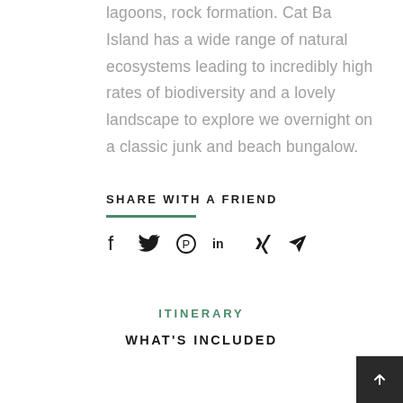lagoons, rock formation. Cat Ba Island has a wide range of natural ecosystems leading to incredibly high rates of biodiversity and a lovely landscape to explore we overnight on a classic junk and beach bungalow.
SHARE WITH A FRIEND
[Figure (infographic): Social share icons: Facebook, Twitter, Pinterest, LinkedIn, Xing, Email/paper plane]
ITINERARY
WHAT'S INCLUDED